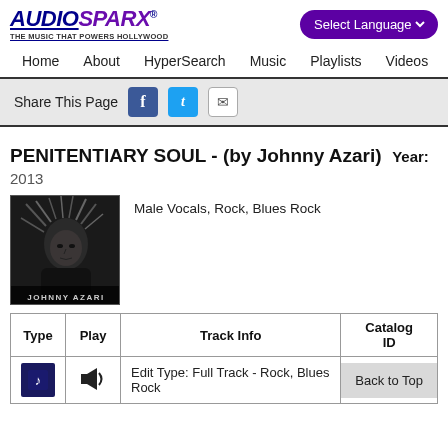AUDIOSPARX - THE MUSIC THAT POWERS HOLLYWOOD | Select Language
Home  About  HyperSearch  Music  Playlists  Videos  Sound
Share This Page
PENITENTIARY SOUL - (by Johnny Azari)  Year: 2013
Male Vocals, Rock, Blues Rock
[Figure (photo): Album cover for Johnny Azari - black and white photo of artist with wild hair, text JOHNNY AZARI at bottom]
| Type | Play | Track Info | Catalog ID |
| --- | --- | --- | --- |
| [music icon] | [speaker icon] | Edit Type: Full Track - Rock, Blues Rock | Back to Top |